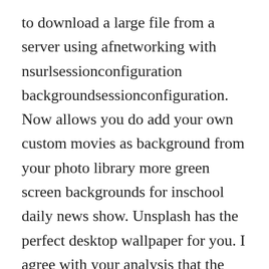to download a large file from a server using afnetworking with nsurlsessionconfiguration backgroundsessionconfiguration. Now allows you do add your own custom movies as background from your photo library more green screen backgrounds for inschool daily news show. Unsplash has the perfect desktop wallpaper for you. I agree with your analysis that the likely cause of the crash is thread 20, but the crash log says that thread 0 crashed. These downloads are actually soap envelope, with embedded files encoded in base64. It has